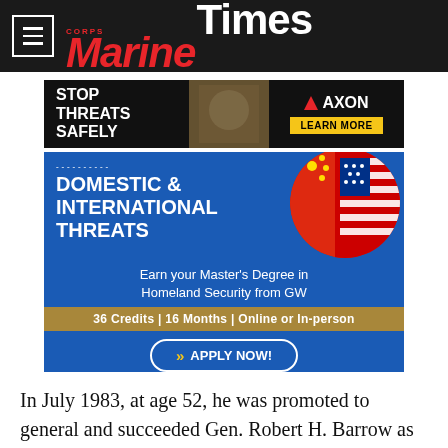Marine Corps Times
[Figure (infographic): Axon advertisement: STOP THREATS SAFELY with military image and LEARN MORE button]
[Figure (infographic): GW advertisement: DOMESTIC & INTERNATIONAL THREATS - Earn your Master's Degree in Homeland Security from GW. 36 Credits | 16 Months | Online or In-person. APPLY NOW!]
In July 1983, at age 52, he was promoted to general and succeeded Gen. Robert H. Barrow as commandant.
[Figure (infographic): IAL advertisement: SERVING TRANSCOM FOR 8 YEARS at pcsmyrov.com]